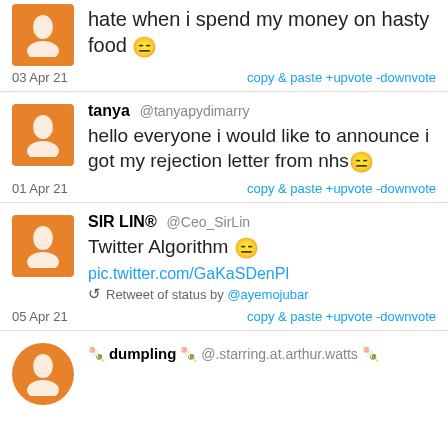hate when i spend my money on hasty food 😑
03 Apr 21   copy & paste +upvote -downvote
tanya @tanyapydimarry
hello everyone i would like to announce i got my rejection letter from nhs😑
01 Apr 21   copy & paste +upvote -downvote
SIR LIN® @Ceo_SirLin
Twitter Algorithm 😑
pic.twitter.com/GaKaSDenPl
🔁 Retweet of status by @ayemojubar
05 Apr 21   copy & paste +upvote -downvote
🍡 dumpling 🍡 @.starring.at.arthur.watts 🍡